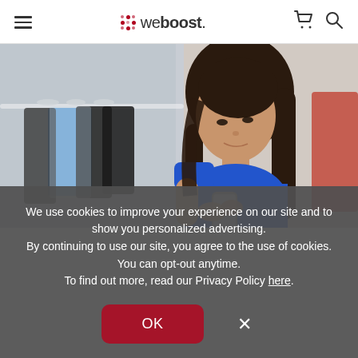weboost navigation header with hamburger menu, cart and search icons
[Figure (photo): Young woman in a blue top looking at her smartphone while standing in a clothing store with garments hanging on racks behind her.]
We use cookies to improve your experience on our site and to show you personalized advertising.
By continuing to use our site, you agree to the use of cookies. You can opt-out anytime.
To find out more, read our Privacy Policy here.